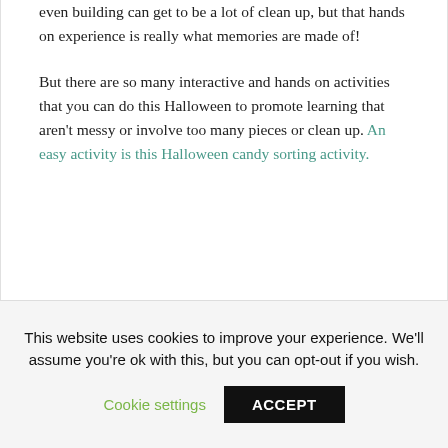even building can get to be a lot of clean up, but that hands on experience is really what memories are made of!
But there are so many interactive and hands on activities that you can do this Halloween to promote learning that aren't messy or involve too many pieces or clean up. An easy activity is this Halloween candy sorting activity.
This website uses cookies to improve your experience. We'll assume you're ok with this, but you can opt-out if you wish.
Cookie settings
ACCEPT